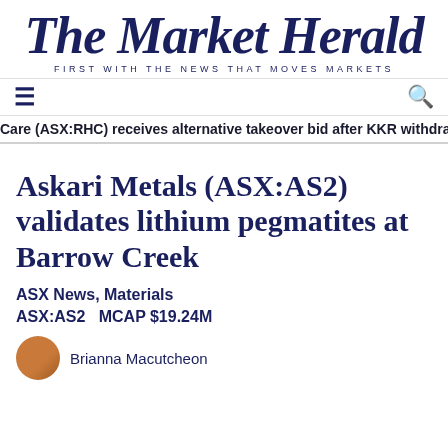The Market Herald
FIRST WITH THE NEWS THAT MOVES MARKETS
Care (ASX:RHC) receives alternative takeover bid after KKR withdra
Askari Metals (ASX:AS2) validates lithium pegmatites at Barrow Creek
ASX News, Materials
ASX:AS2    MCAP $19.24M
Brianna Macutcheon